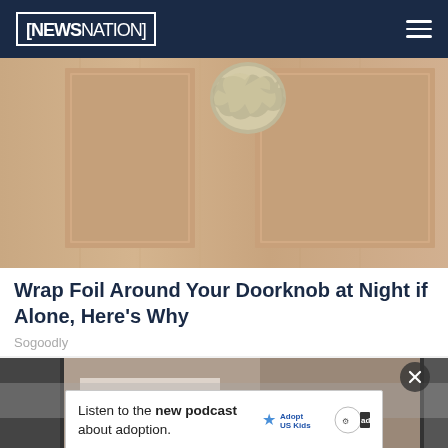NEWSNATION
[Figure (photo): Close-up photo of a wooden door with a door knob wrapped in aluminum/tin foil]
Wrap Foil Around Your Doorknob at Night if Alone, Here's Why
Sogoodly
[Figure (photo): Photo of a person in white outfit, partially visible, with an advertisement overlay. Ad text: Listen to the new podcast about adoption. Adopt US Kids logo.]